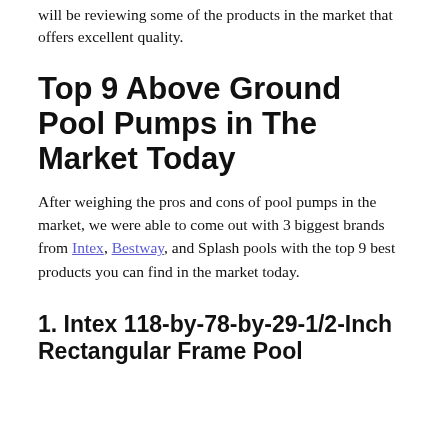will be reviewing some of the products in the market that offers excellent quality.
Top 9 Above Ground Pool Pumps in The Market Today
After weighing the pros and cons of pool pumps in the market, we were able to come out with 3 biggest brands from Intex, Bestway, and Splash pools with the top 9 best products you can find in the market today.
1. Intex 118-by-78-by-29-1/2-Inch Rectangular Frame Pool